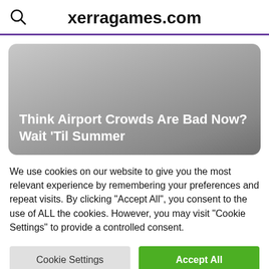xerragames.com
[Figure (screenshot): Hero image card with gray gradient background and bold white text: 'Think Airport Crowds Are Bad Now? Wait 'Til Summer']
We use cookies on our website to give you the most relevant experience by remembering your preferences and repeat visits. By clicking "Accept All", you consent to the use of ALL the cookies. However, you may visit "Cookie Settings" to provide a controlled consent.
Cookie Settings | Accept All